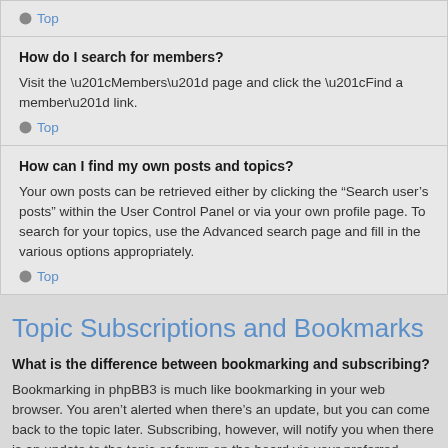Top
How do I search for members?
Visit the “Members” page and click the “Find a member” link.
Top
How can I find my own posts and topics?
Your own posts can be retrieved either by clicking the “Search user’s posts” within the User Control Panel or via your own profile page. To search for your topics, use the Advanced search page and fill in the various options appropriately.
Top
Topic Subscriptions and Bookmarks
What is the difference between bookmarking and subscribing?
Bookmarking in phpBB3 is much like bookmarking in your web browser. You aren’t alerted when there’s an update, but you can come back to the topic later. Subscribing, however, will notify you when there is an update to the topic or forum on the board via your preferred method or methods.